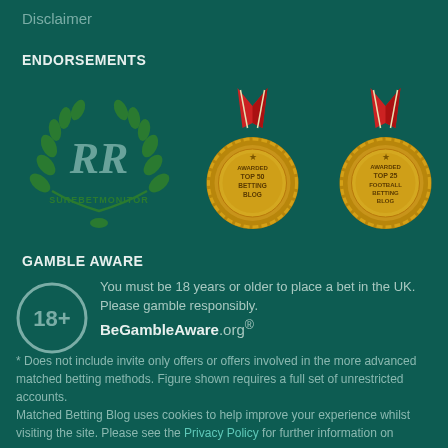Disclaimer
ENDORSEMENTS
[Figure (logo): SureBetMonitor logo: green laurel wreath with RR monogram and SUREBETMONITOR text. Two gold medal awards: 'Awarded Top 50 Betting Blog' and 'Awarded Top 25 Football Betting Blog'.]
GAMBLE AWARE
You must be 18 years or older to place a bet in the UK. Please gamble responsibly.
BeGambleAware.org
* Does not include invite only offers or offers involved in the more advanced matched betting methods. Figure shown requires a full set of unrestricted accounts.
Matched Betting Blog uses cookies to help improve your experience whilst visiting the site. Please see the Privacy Policy for further information on how the use of Cookies can be controlled.